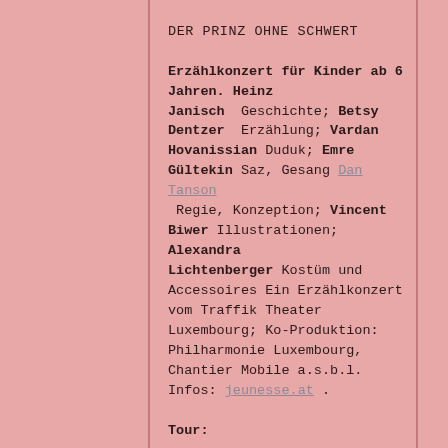DER PRINZ OHNE SCHWERT
Erzählkonzert für Kinder ab 6 Jahren. Heinz Janisch Geschichte; Betsy Dentzer Erzählung; Vardan Hovanissian Duduk; Emre Gültekin Saz, Gesang Dan Tanson Regie, Konzeption; Vincent Biwer Illustrationen; Alexandra Lichtenberger Kostüm und Accessoires Ein Erzählkonzert vom Traffik Theater Luxembourg; Ko-Produktion: Philharmonie Luxembourg, Chantier Mobile a.s.b.l. Infos: jeunesse.at .
Tour:
Schungfabrik Téiteng - 05 +